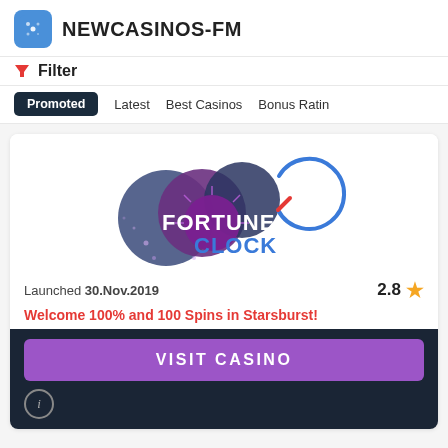NEWCASINOS-FM
Filter
Promoted
Latest
Best Casinos
Bonus Rating
[Figure (logo): Fortune Clock casino logo with colorful spheres and clock graphic]
Launched 30.Nov.2019
2.8 ★
Welcome 100% and 100 Spins in Starsburst!
VISIT CASINO